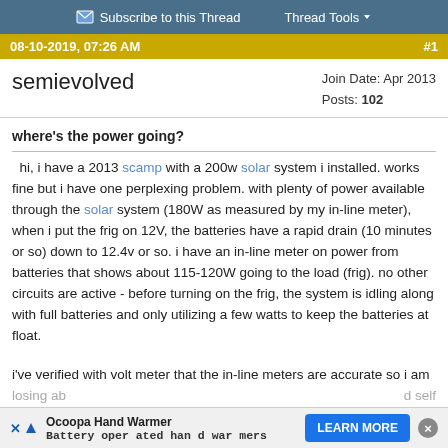Subscribe to this Thread   Thread Tools
08-10-2019, 07:26 AM   #1
semievolved
Join Date: Apr 2013
Posts: 102
where's the power going?
hi, i have a 2013 scamp with a 200w solar system i installed. works fine but i have one perplexing problem. with plenty of power available through the solar system (180W as measured by my in-line meter), when i put the frig on 12V, the batteries have a rapid drain (10 minutes or so) down to 12.4v or so. i have an in-line meter on power from batteries that shows about 115-120W going to the load (frig). no other circuits are active - before turning on the frig, the system is idling along with full batteries and only utilizing a few watts to keep the batteries at float.
i've verified with volt meter that the in-line meters are accurate so i am losing ab... d self consume... ontroller is a suns...
[Figure (screenshot): Advertisement banner: Ocoopa Hand Warmer - Battery operated hand warmers - LEARN MORE button]